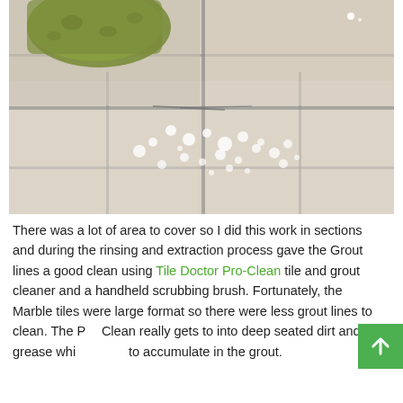[Figure (photo): Close-up photo of a sponge or scrubbing pad on top of large format marble floor tiles with grey grout lines. Water droplets and bubbles are visible on the tile surface, indicating cleaning in progress.]
There was a lot of area to cover so I did this work in sections and during the rinsing and extraction process gave the Grout lines a good clean using Tile Doctor Pro-Clean tile and grout cleaner and a handheld scrubbing brush. Fortunately, the Marble tiles were large format so there were less grout lines to clean. The Pro-Clean really gets to into deep seated dirt and grease which tends to accumulate in the grout.